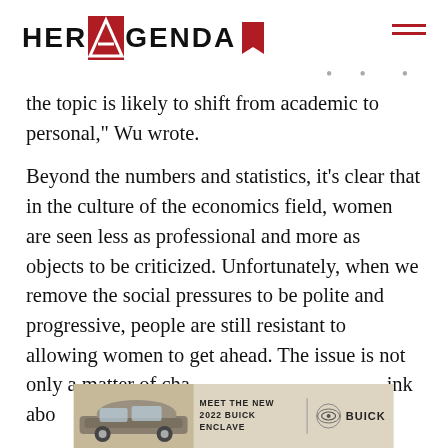HER AGENDA
the topic is likely to shift from academic to personal," Wu wrote.
Beyond the numbers and statistics, it’s clear that in the culture of the economics field, women are seen less as professional and more as objects to be criticized. Unfortunately, when we remove the social pressures to be polite and progressive, people are still resistant to allowing women to get ahead. The issue is not only a matter of changing how we think about
[Figure (advertisement): Buick advertisement: photo of a 2022 Buick Enclave SUV on left, text MEET THE NEW 2022 BUICK ENCLAVE with Buick logo on right]